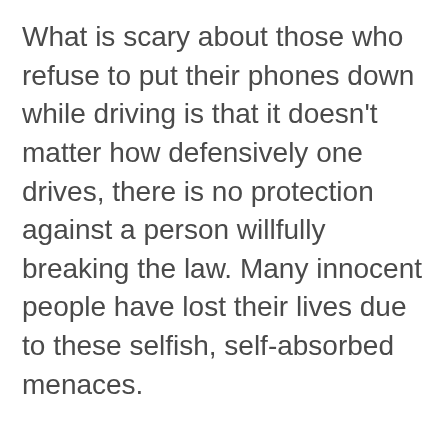What is scary about those who refuse to put their phones down while driving is that it doesn't matter how defensively one drives, there is no protection against a person willfully breaking the law. Many innocent people have lost their lives due to these selfish, self-absorbed menaces.

Cars should have sensors that